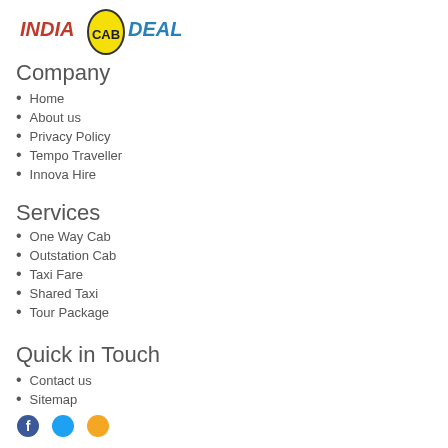[Figure (logo): India Cab Deal logo with yellow oval containing 'CAB' text, flanked by 'INDIA' in red italic and 'DEAL' in blue italic]
Company
Home
About us
Privacy Policy
Tempo Traveller
Innova Hire
Services
One Way Cab
Outstation Cab
Taxi Fare
Shared Taxi
Tour Package
Quick in Touch
Contact us
Sitemap
[Figure (illustration): Social media icons row at bottom of page]